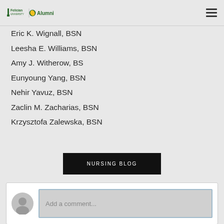Felician University Alumni
Eric K. Wignall, BSN
Leesha E. Williams, BSN
Amy J. Witherow, BS
Eunyoung Yang, BSN
Nehir Yavuz, BSN
Zaclin M. Zacharias, BSN
Krzysztofa Zalewska, BSN
NURSING BLOG
Add a comment...